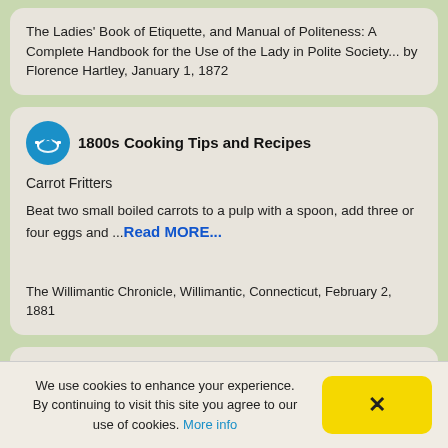The Ladies' Book of Etiquette, and Manual of Politeness: A Complete Handbook for the Use of the Lady in Polite Society... by Florence Hartley, January 1, 1872
1800s Cooking Tips and Recipes
Carrot Fritters
Beat two small boiled carrots to a pulp with a spoon, add three or four eggs and ...Read MORE...
The Willimantic Chronicle, Willimantic, Connecticut, February 2, 1881
We use cookies to enhance your experience. By continuing to visit this site you agree to our use of cookies. More info